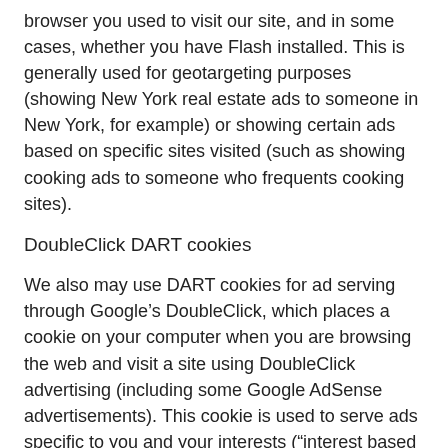browser you used to visit our site, and in some cases, whether you have Flash installed. This is generally used for geotargeting purposes (showing New York real estate ads to someone in New York, for example) or showing certain ads based on specific sites visited (such as showing cooking ads to someone who frequents cooking sites).
DoubleClick DART cookies
We also may use DART cookies for ad serving through Google's DoubleClick, which places a cookie on your computer when you are browsing the web and visit a site using DoubleClick advertising (including some Google AdSense advertisements). This cookie is used to serve ads specific to you and your interests (“interest based targeting”). The ads served will be targeted based on your previous browsing history (For example, if you have been viewing sites about visiting Las Vegas, you may see Las Vegas hotel advertisements when viewing a non-related site, such as on a site about hockey). DART uses “non personally identifiable information”. It does NOT track personal information about you, such as your name, email address,